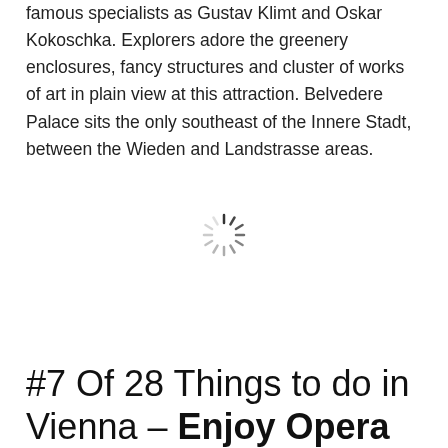famous specialists as Gustav Klimt and Oskar Kokoschka. Explorers adore the greenery enclosures, fancy structures and cluster of works of art in plain view at this attraction. Belvedere Palace sits the only southeast of the Innere Stadt, between the Wieden and Landstrasse areas.
[Figure (other): Loading spinner icon (circular dashed spinner indicating image loading)]
#7 Of 28 Things to do in Vienna – Enjoy Opera